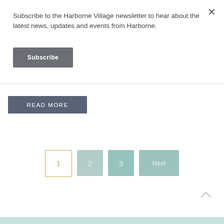Subscribe to the Harborne Village newsletter to hear about the latest news, updates and events from Harborne.
Subscribe
READ MORE
1
2
3
Next